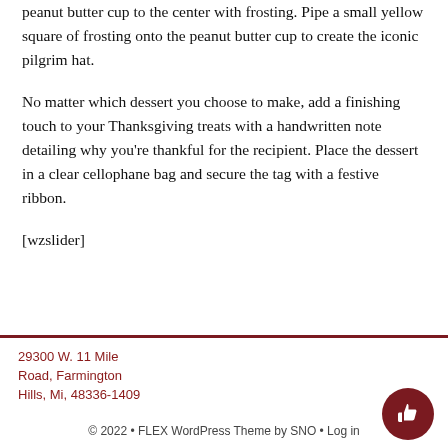peanut butter cup to the center with frosting. Pipe a small yellow square of frosting onto the peanut butter cup to create the iconic pilgrim hat.
No matter which dessert you choose to make, add a finishing touch to your Thanksgiving treats with a handwritten note detailing why you're thankful for the recipient. Place the dessert in a clear cellophane bag and secure the tag with a festive ribbon.
[wzslider]
29300 W. 11 Mile Road, Farmington Hills, Mi, 48336-1409
© 2022 • FLEX WordPress Theme by SNO • Log in